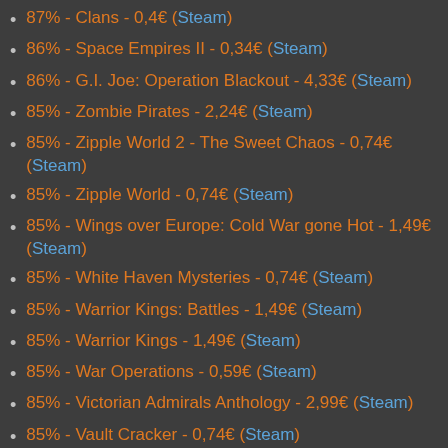87% - Clans - 0,4€ (Steam)
86% - Space Empires II - 0,34€ (Steam)
86% - G.I. Joe: Operation Blackout - 4,33€ (Steam)
85% - Zombie Pirates - 2,24€ (Steam)
85% - Zipple World 2 - The Sweet Chaos - 0,74€ (Steam)
85% - Zipple World - 0,74€ (Steam)
85% - Wings over Europe: Cold War gone Hot - 1,49€ (Steam)
85% - White Haven Mysteries - 0,74€ (Steam)
85% - Warrior Kings: Battles - 1,49€ (Steam)
85% - Warrior Kings - 1,49€ (Steam)
85% - War Operations - 0,59€ (Steam)
85% - Victorian Admirals Anthology - 2,99€ (Steam)
85% - Vault Cracker - 0,74€ (Steam)
85% - Us and Them - 0,44€ (Steam)